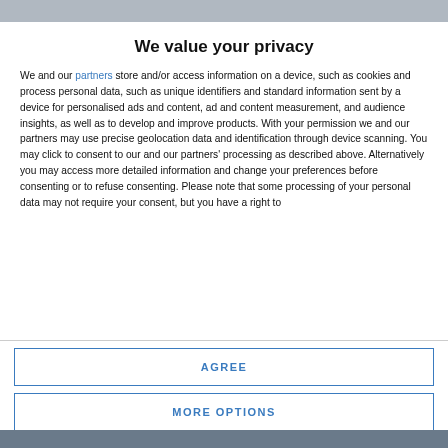[Figure (screenshot): Top banner strip showing partial website header/logo area in dark grey]
We value your privacy
We and our partners store and/or access information on a device, such as cookies and process personal data, such as unique identifiers and standard information sent by a device for personalised ads and content, ad and content measurement, and audience insights, as well as to develop and improve products. With your permission we and our partners may use precise geolocation data and identification through device scanning. You may click to consent to our and our partners' processing as described above. Alternatively you may access more detailed information and change your preferences before consenting or to refuse consenting. Please note that some processing of your personal data may not require your consent, but you have a right to
AGREE
MORE OPTIONS
[Figure (photo): Bottom photo strip partially visible showing people, dark background]